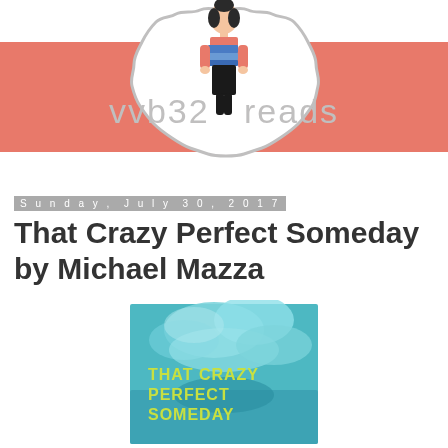[Figure (logo): vvb32reads blog logo with cartoon woman holding books on a pink/salmon stripe background with decorative scalloped frame]
Sunday, July 30, 2017
That Crazy Perfect Someday by Michael Mazza
[Figure (photo): Book cover of 'That Crazy Perfect Someday' showing cloudy sky with yellow-green text]